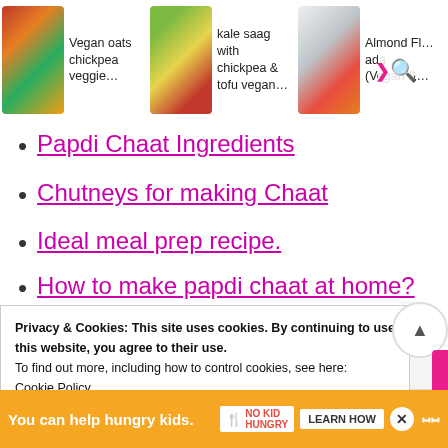[Figure (screenshot): Three food recipe image cards in a horizontal strip: Vegan oats chickpea veggie, kale saag with chickpea & tofu vegan, and Almond Flour recipe with search overlay icons]
Papdi Chaat Ingredients
Chutneys for making Chaat
Ideal meal prep recipe.
How to make papdi chaat at home?
Expert tips.
Privacy & Cookies: This site uses cookies. By continuing to use this website, you agree to their use.
To find out more, including how to control cookies, see here: Cookie Policy
[Figure (screenshot): Ad banner: You can help hungry kids. No Kid Hungry logo. LEARN HOW button. Close button.]